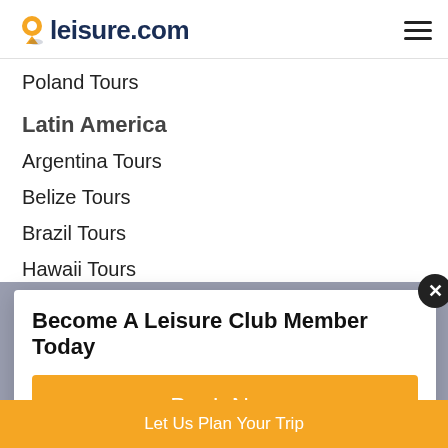leisure.com
Poland Tours
Latin America
Argentina Tours
Belize Tours
Brazil Tours
Hawaii Tours
Peru Tours
Patagonia Tours
Chile Tours
Become A Leisure Club Member Today
Book Now
Let Us Plan Your Trip